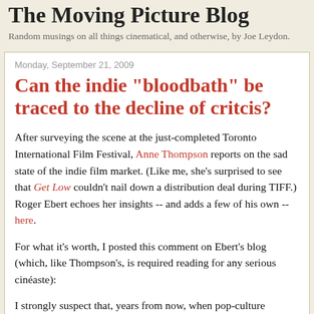The Moving Picture Blog
Random musings on all things cinematical, and otherwise, by Joe Leydon.
Monday, September 21, 2009
Can the indie "bloodbath" be traced to the decline of critcis?
After surveying the scene at the just-completed Toronto International Film Festival, Anne Thompson reports on the sad state of the indie film market. (Like me, she's surprised to see that Get Low couldn't nail down a distribution deal during TIFF.) Roger Ebert echoes her insights -- and adds a few of his own -- here.
For what it's worth, I posted this comment on Ebert's blog (which, like Thompson's, is required reading for any serious cinéaste):
I strongly suspect that, years from now, when pop-culture historians are writing about the early 21st-century indie film